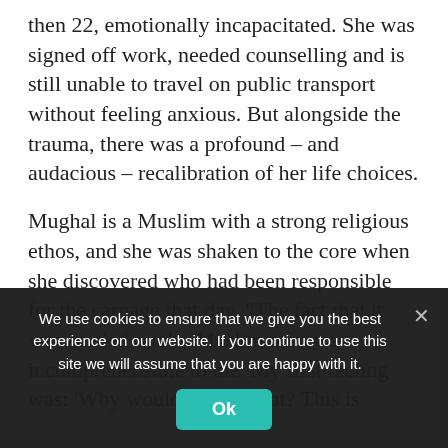then 22, emotionally incapacitated. She was signed off work, needed counselling and is still unable to travel on public transport without feeling anxious. But alongside the trauma, there was a profound – and audacious – recalibration of her life choices.
Mughal is a Muslim with a strong religious ethos, and she was shaken to the core when she discovered who had been responsible for the carnage that day. "The fact that it was carried out by Muslim men was incomprehensible to me. My first feeling was: 'Why would you do that? This is
We use cookies to ensure that we give you the best experience on our website. If you continue to use this site we will assume that you are happy with it.